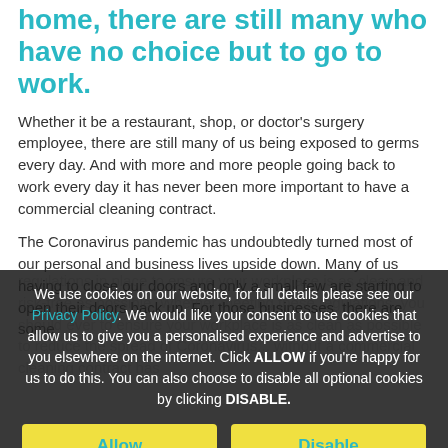home, there are still many who have no choice but to go to work.
Whether it be a restaurant, shop, or doctor's surgery employee, there are still many of us being exposed to germs every day. And with more and more people going back to work every day it has never been more important to have a commercial cleaning contract.
The Coronavirus pandemic has undoubtedly turned most of our personal and business lives upside down. Many of us having to close our doors and only a small few are starting to open their doors back up. For those businesses, there are some
We use cookies on our website, for full details please see our Privacy Policy. We would like your consent to use cookies that allow us to give you a personalised experience and advertise to you elsewhere on the internet. Click ALLOW if you're happy for us to do this. You can also choose to disable all optional cookies by clicking DISABLE.